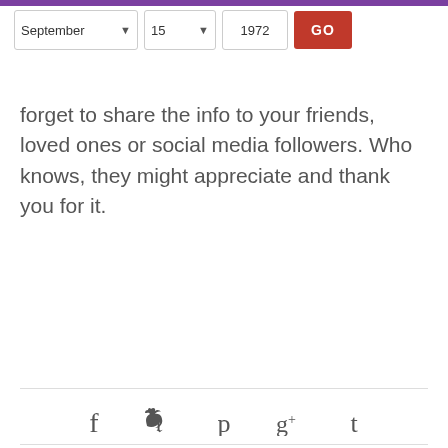[Figure (screenshot): Header bar with date selector controls: September month dropdown, 15 day dropdown, 1972 year input, and a red GO button]
forget to share the info to your friends, loved ones or social media followers. Who knows, they might appreciate and thank you for it.
[Figure (other): Social media share icons: Facebook (f), Twitter (bird), Pinterest (p), Google+ (g+), Tumblr (t)]